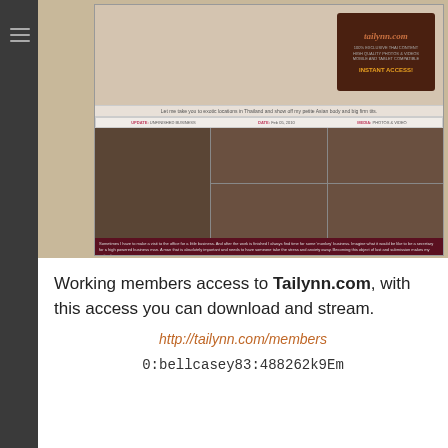[Figure (screenshot): Screenshot of tailynn.com adult website showing header image, logo with 'tailynn.com' text, 'INSTANT ACCESS!' button, tagline text, gallery grid with photo thumbnails, and description text]
Working members access to Tailynn.com, with this access you can download and stream.
http://tailynn.com/members
0:bellcasey83:488262k9Em